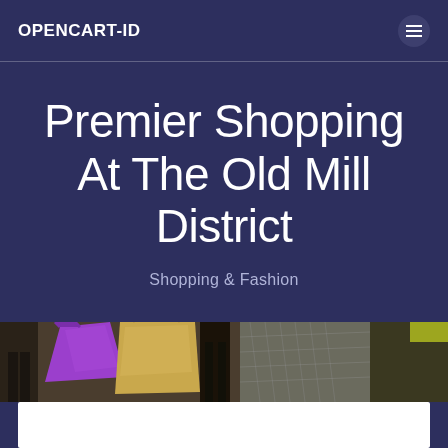OPENCART-ID
Premier Shopping At The Old Mill District
Shopping & Fashion
[Figure (photo): Shopping street scene with people carrying colorful bags including purple and gold, partial view at bottom of page]
[Figure (other): White content block at bottom of page]